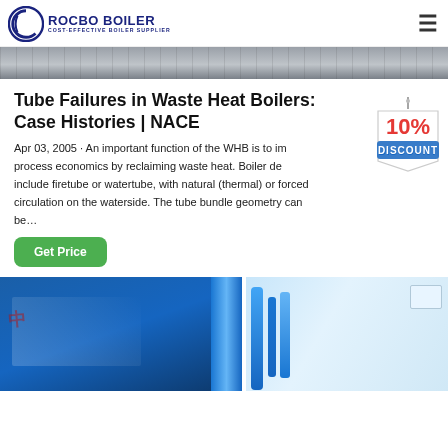[Figure (logo): Rocbo Boiler logo with circular C icon and text 'ROCBO BOILER - COST-EFFECTIVE BOILER SUPPLIER' in dark blue]
[Figure (photo): Top partial image of industrial boiler equipment, grating/grid surface visible]
Tube Failures in Waste Heat Boilers: Case Histories | NACE
Apr 03, 2005 · An important function of the WHB is to improve process economics by reclaiming waste heat. Boiler designs include firetube or watertube, with natural (thermal) or forced circulation on the waterside. The tube bundle geometry can be…
[Figure (illustration): 10% DISCOUNT badge/sticker graphic in red and blue on a hanging tag]
[Figure (photo): Bottom partial image of industrial boiler facility showing blue boiler equipment and piping]
Get Price